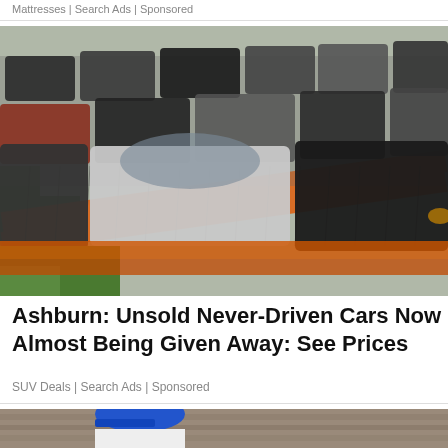Mattresses | Search Ads | Sponsored
[Figure (photo): Rows of unsold cars in a parking lot lined with orange safety netting fencing, viewed from an angle showing many vehicles packed tightly together.]
Ashburn: Unsold Never-Driven Cars Now Almost Being Given Away: See Prices
SUV Deals | Search Ads | Sponsored
[Figure (photo): Partial view of a person wearing a blue cap and white top, cropped at bottom of page.]